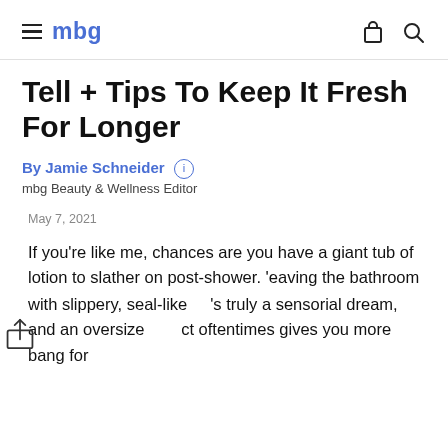mbg
Tell + Tips To Keep It Fresh For Longer
By Jamie Schneider
mbg Beauty & Wellness Editor
May 7, 2021
If you're like me, chances are you have a giant tub of lotion to slather on post-shower. ‘eaving the bathroom with slippery, seal-like 's truly a sensorial dream, and an oversize ct oftentimes gives you more bang for